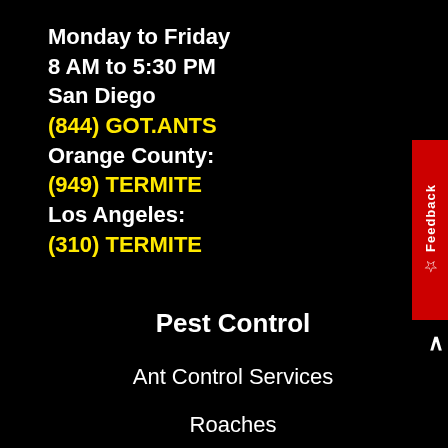Monday to Friday
8 AM to 5:30 PM
San Diego
(844) GOT.ANTS
Orange County:
(949) TERMITE
Los Angeles:
(310) TERMITE
Pest Control
Ant Control Services
Roaches
Spiders Pest Control
Bed Bug Pest Control
Rat Control